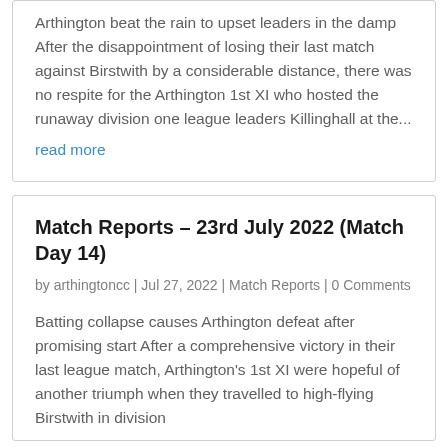Arthington beat the rain to upset leaders in the damp After the disappointment of losing their last match against Birstwith by a considerable distance, there was no respite for the Arthington 1st XI who hosted the runaway division one league leaders Killinghall at the...
read more
Match Reports – 23rd July 2022 (Match Day 14)
by arthingtoncc | Jul 27, 2022 | Match Reports | 0 Comments
Batting collapse causes Arthington defeat after promising start After a comprehensive victory in their last league match, Arthington's 1st XI were hopeful of another triumph when they travelled to high-flying Birstwith in division